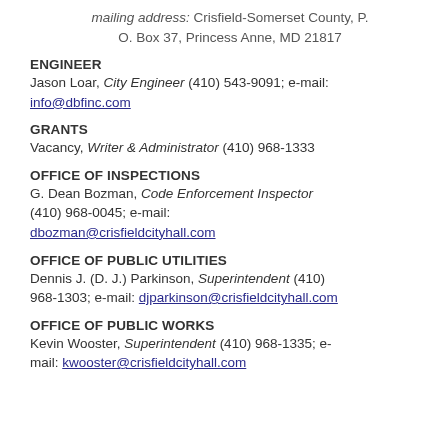mailing address: Crisfield-Somerset County, P.O. Box 37, Princess Anne, MD 21817
ENGINEER
Jason Loar, City Engineer (410) 543-9091; e-mail: info@dbfinc.com
GRANTS
Vacancy, Writer & Administrator (410) 968-1333
OFFICE OF INSPECTIONS
G. Dean Bozman, Code Enforcement Inspector (410) 968-0045; e-mail: dbozman@crisfieldcityhall.com
OFFICE OF PUBLIC UTILITIES
Dennis J. (D. J.) Parkinson, Superintendent (410) 968-1303; e-mail: djparkinson@crisfieldcityhall.com
OFFICE OF PUBLIC WORKS
Kevin Wooster, Superintendent (410) 968-1335; e-mail: kwooster@crisfieldcityhall.com